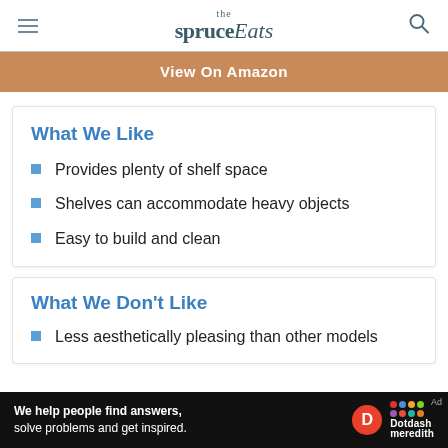the spruceEats
[Figure (screenshot): View On Amazon button in orange/tan background]
What We Like
Provides plenty of shelf space
Shelves can accommodate heavy objects
Easy to build and clean
What We Don't Like
Less aesthetically pleasing than other models
[Figure (infographic): Dotdash Meredith ad bar: We help people find answers, solve problems and get inspired.]